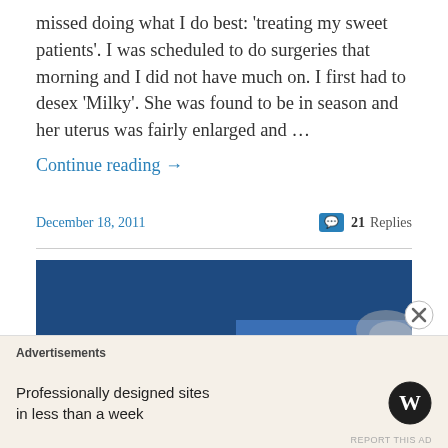missed doing what I do best: 'treating my sweet patients'. I was scheduled to do surgeries that morning and I did not have much on. I first had to desex 'Milky'. She was found to be in season and her uterus was fairly enlarged and …
Continue reading →
December 18, 2011
21 Replies
[Figure (photo): Close-up photograph of a surgical procedure showing gloved hands holding biological tissue, with a blue surgical drape in the background. The image appears to show a veterinary surgery in progress.]
Advertisements
Professionally designed sites in less than a week